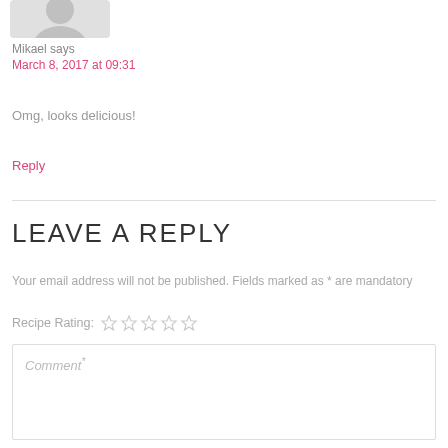[Figure (illustration): User avatar placeholder - grey silhouette icon of a person]
Mikael says
March 8, 2017 at 09:31
Omg, looks delicious!
Reply
LEAVE A REPLY
Your email address will not be published. Fields marked as * are mandatory
Recipe Rating: ☆☆☆☆☆
Comment*